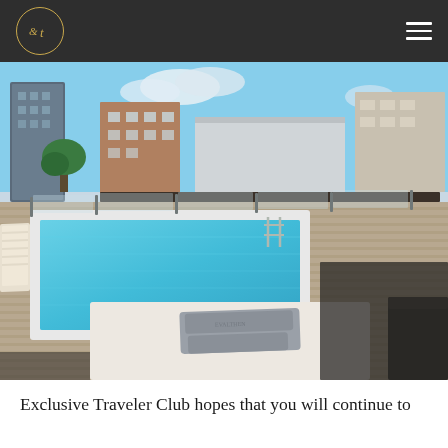Exclusive Traveler Club navigation bar with logo and menu
[Figure (photo): Rooftop swimming pool with wooden deck, sun loungers, folded towels in foreground, glass railing, and urban buildings with blue sky in background]
Exclusive Traveler Club hopes that you will continue to